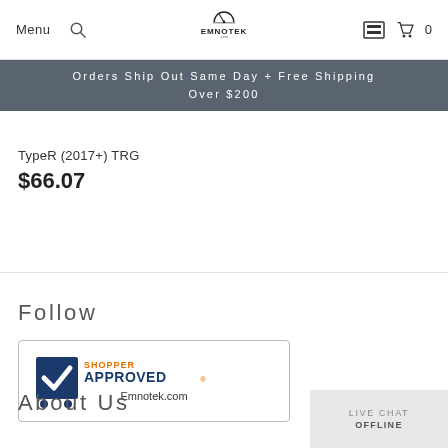Menu | Search | EMNOTEK | Cart 0
Orders Ship Out Same Day + Free Shipping Over $200
TypeR (2017+) TRG
$66.07
Follow
[Figure (logo): Shopper Approved 5-star badge for Emnotek.com]
About Us
LIVE CHAT OFFLINE